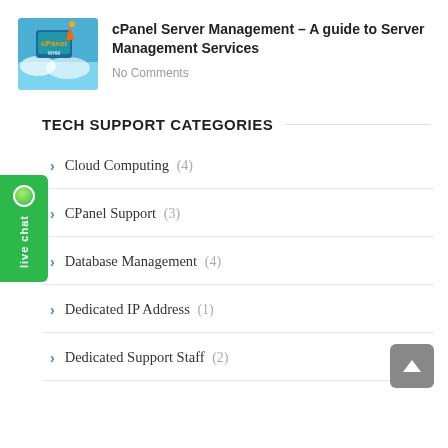[Figure (illustration): Thumbnail image for cPanel Server Management article with blue/teal cloud graphic and rocket icon]
cPanel Server Management – A guide to Server Management Services
No Comments
TECH SUPPORT CATEGORIES
Cloud Computing (4)
CPanel Support (3)
Database Management (4)
Dedicated IP Address (1)
Dedicated Support Staff (2)